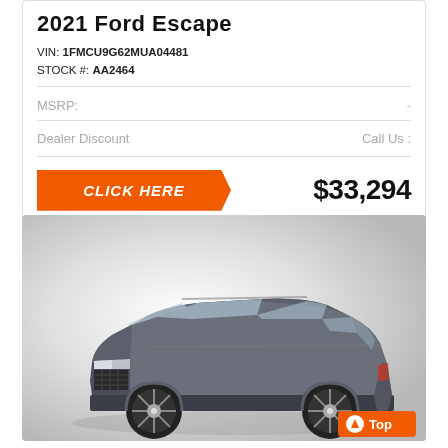2021 Ford Escape
VIN: 1FMCU9G62MUA04481
STOCK #: AA2464
MSRP:  -
Dealer Discount   Call Us :
CLICK HERE   $33,294
[Figure (photo): Gray Lexus SUV (RX series) photographed on a light gray gradient background, front three-quarter view showing the front grille, headlights, and driver side. Bottom right has an orange 'Top' button.]